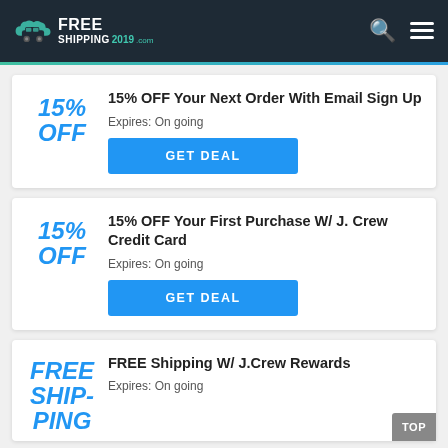FREE SHIPPING 2019 .com
15% OFF
15% OFF Your Next Order With Email Sign Up
Expires: On going
GET DEAL
15% OFF
15% OFF Your First Purchase W/ J. Crew Credit Card
Expires: On going
GET DEAL
FREE SHIPPING
FREE Shipping W/ J.Crew Rewards
Expires: On going